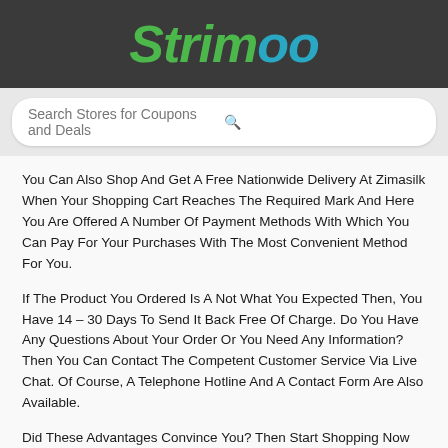Strimoo
Search Stores for Coupons and Deals
You Can Also Shop And Get A Free Nationwide Delivery At Zimasilk When Your Shopping Cart Reaches The Required Mark And Here You Are Offered A Number Of Payment Methods With Which You Can Pay For Your Purchases With The Most Convenient Method For You.
If The Product You Ordered Is A Not What You Expected Then, You Have 14 – 30 Days To Send It Back Free Of Charge. Do You Have Any Questions About Your Order Or You Need Any Information? Then You Can Contact The Competent Customer Service Via Live Chat. Of Course, A Telephone Hotline And A Contact Form Are Also Available.
Did These Advantages Convince You? Then Start Shopping Now And Use Our Zimasilk Coupon.